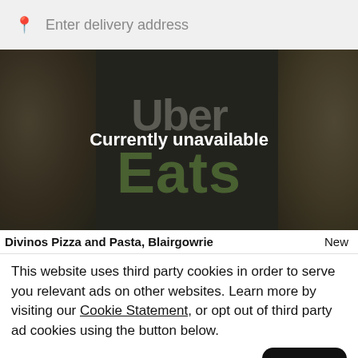Enter delivery address
[Figure (screenshot): Uber Eats restaurant hero image showing 'Currently unavailable' overlay with Uber Eats logo on dark background with food imagery]
Divinos Pizza and Pasta, Blairgowrie  New
This website uses third party cookies in order to serve you relevant ads on other websites. Learn more by visiting our Cookie Statement, or opt out of third party ad cookies using the button below.
Opt out
Got it